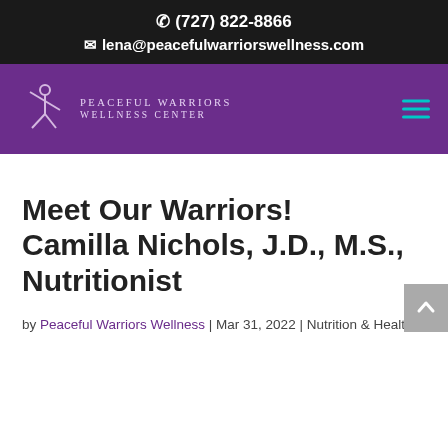☎ (727) 822-8866 ✉ lena@peacefulwarriorswellness.com
[Figure (logo): Peaceful Warriors Wellness Center logo with stylized figure and text]
Meet Our Warriors! Camilla Nichols, J.D., M.S., Nutritionist
by Peaceful Warriors Wellness | Mar 31, 2022 | Nutrition & Health